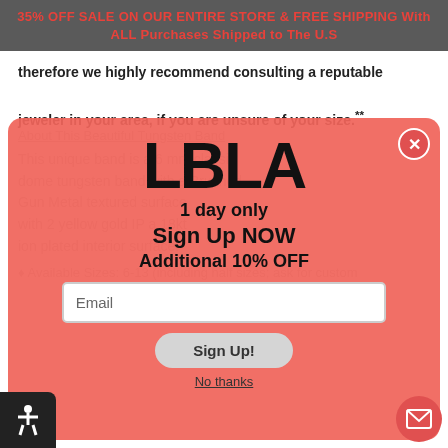35% OFF SALE ON OUR ENTIRE STORE & FREE SHIPPING With ALL Purchases Shipped to The U.S
therefore we highly recommend consulting a reputable jeweler in your area, if you are unsure of your size.**
[Figure (logo): LBLA logo in large bold black text on red/salmon background popup overlay]
1 day only
Sign Up NOW
Additional 10% OFF
Email
Sign Up!
No thanks
About This Beautiful Tungsten Band
This unique band is a 6 mm classic dome tungsten band with a Brushed Gun Metal textured surface with 2 yellow gold IP a 18kt ion plated interior surface.
Available Sizes: 6-13 (including half sizes; ask for custom